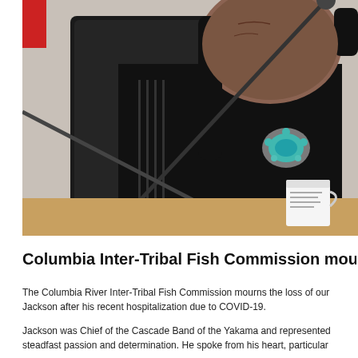[Figure (photo): An elderly Native American man seated at a table with microphones in front of him. He is wearing a black leather vest over a striped shirt, with a large turquoise bolo tie/brooch. A white coffee mug is visible on the table in front of him.]
Columbia Inter-Tribal Fish Commission mourns l
The Columbia River Inter-Tribal Fish Commission mourns the loss of our Jackson after his recent hospitalization due to COVID-19.
Jackson was Chief of the Cascade Band of the Yakama and represented steadfast passion and determination. He spoke from his heart, particular